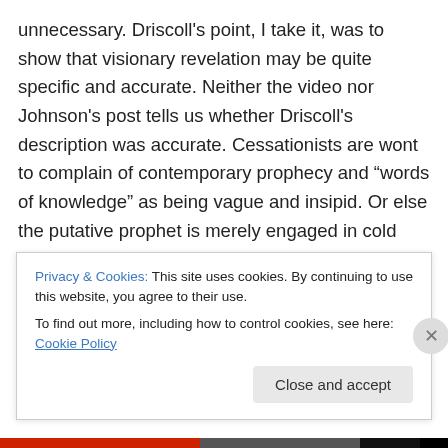unnecessary. Driscoll's point, I take it, was to show that visionary revelation may be quite specific and accurate. Neither the video nor Johnson's post tells us whether Driscoll's description was accurate. Cessationists are wont to complain of contemporary prophecy and “words of knowledge” as being vague and insipid. Or else the putative prophet is merely engaged in cold reading. One of Johnson's colleagues, Dan Phillips recently wagged that arguing for Continuationism was “self-refuting” since genuinely miraculous results ought to speak for themselves. So when a prophecy is vague many
Privacy & Cookies: This site uses cookies. By continuing to use this website, you agree to their use.
To find out more, including how to control cookies, see here: Cookie Policy
Close and accept